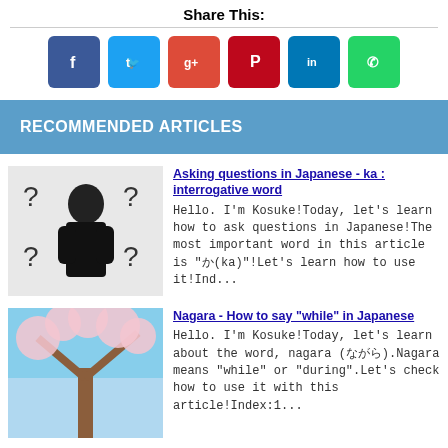Share This:
[Figure (infographic): Social media sharing buttons: Facebook (blue), Twitter (light blue), Google+ (red-orange), Pinterest (dark red), LinkedIn (blue), WhatsApp (green)]
RECOMMENDED ARTICLES
[Figure (photo): Person with question marks around them, illustration for Japanese questions article]
Asking questions in Japanese - ka : interrogative word
Hello. I'm Kosuke!Today, let's learn how to ask questions in Japanese!The most important word in this article is "か(ka)"!Let's learn how to use it!Ind...
[Figure (photo): Cherry blossom tree against blue sky, illustration for Nagara article]
Nagara - How to say "while" in Japanese
Hello. I'm Kosuke!Today, let's learn about the word, nagara (ながら).Nagara means "while" or "during".Let's check how to use it with this article!Index:1...
[Figure (photo): Japanese kanji character 'wo' (を) in black brush strokes on white background]
Japanese particle "を(wo)" - Make nouns Object
Hello. I'm Kosuke!In the previous article, we studied